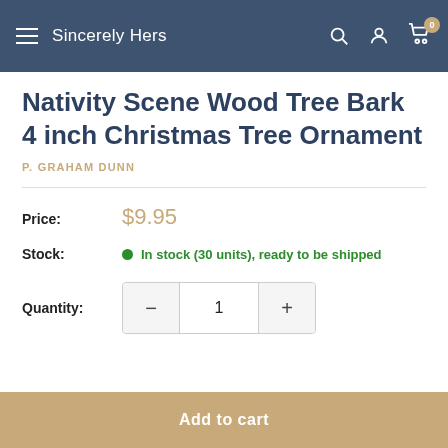Sincerely Hers
Nativity Scene Wood Tree Bark 4 inch Christmas Tree Ornament
P. GRAHAM DUNN
Price: $9.95
Stock: In stock (30 units), ready to be shipped
Quantity: 1
Add to cart